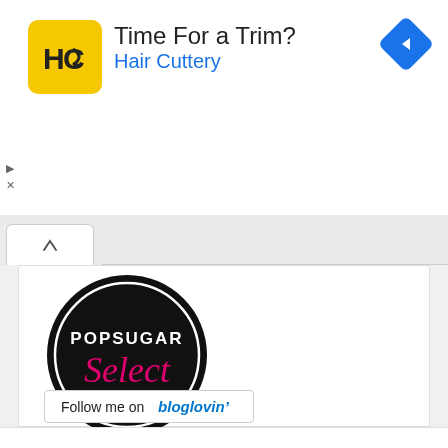[Figure (logo): Hair Cuttery advertisement banner with HC logo in yellow square, text 'Time For a Trim?' and 'Hair Cuttery' in blue, blue diamond navigation icon top right, play and close controls top left]
[Figure (logo): POPSUGAR Select Fitness circular badge logo - black circle with white border, white text POPSUGAR, pink cursive text 'Select', white text FITNESS]
Follow me on bloglovin'